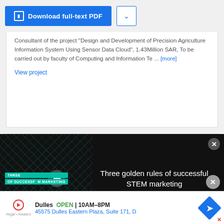[Figure (screenshot): Download full-text PDF button with blue background and a dropdown arrow button beside it]
Consultant of the project “Design and Development of Precision Agriculture Information System Using Sensor Data Cloud”, 1.43Million SAR, To be carried out by faculty of Computing and Information Te ... [more]
View project
Project
[Figure (screenshot): Video overlay with dark background showing 'Three golden rules of successful STEM marketing' with a play button and close button]
Principal Investigator of the project “Real Time Detection of Crop Diseases and Pests Using Image Sensor Network Technology” – Funded by Ministry of Science and Technology, Government of
[Figure (screenshot): Advertisement bar at bottom: Dulles OPEN 10AM-8PM, 45575 Dulles Eastern Plaza, Suite 171, D]